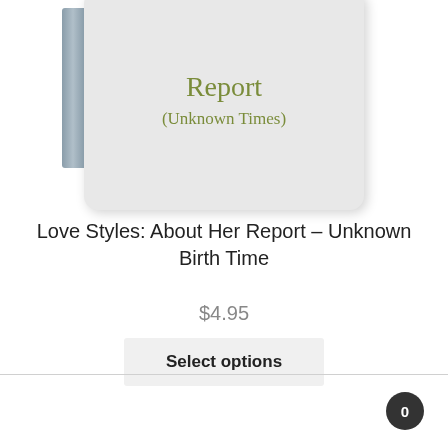[Figure (illustration): Book cover showing 'Report (Unknown Times)' text in olive/green serif font on a light gray rounded rectangle, with a gray spine on the left side.]
Love Styles: About Her Report – Unknown Birth Time
$4.95
Select options
0